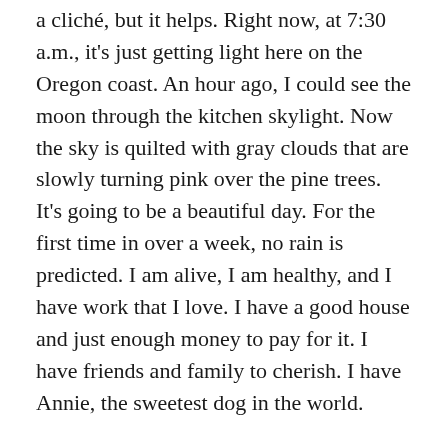a cliché, but it helps. Right now, at 7:30 a.m., it's just getting light here on the Oregon coast. An hour ago, I could see the moon through the kitchen skylight. Now the sky is quilted with gray clouds that are slowly turning pink over the pine trees. It's going to be a beautiful day. For the first time in over a week, no rain is predicted. I am alive, I am healthy, and I have work that I love. I have a good house and just enough money to pay for it. I have friends and family to cherish. I have Annie, the sweetest dog in the world.
No, I don't have children, and my husband died. That sucks, but I can't change it. I look at the sky getting lighter every minute, and I go on.